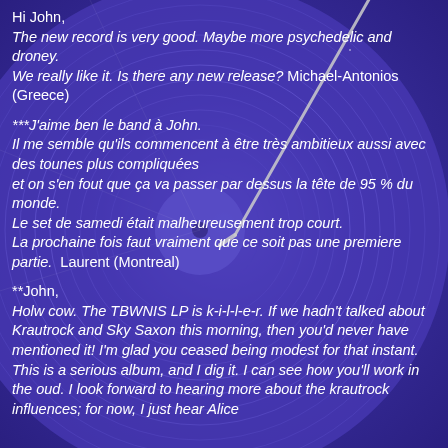Hi John,
The new record is very good. Maybe more psychedelic and droney.
We really like it. Is there any new release? Michael-Antonios (Greece)
***J'aime ben le band à John.
Il me semble qu'ils commencent à être très ambitieux aussi avec des tounes plus compliquées
et on s'en fout que ça va passer par dessus la tête de 95 % du monde.
Le set de samedi était malheureusement trop court.
La prochaine fois faut vraiment que ce soit pas une premiere partie. Laurent (Montreal)
**John,
Holw cow. The TBWNIS LP is k-i-l-l-e-r. If we hadn't talked about Krautrock and Sky Saxon this morning, then you'd never have mentioned it! I'm glad you ceased being modest for that instant. This is a serious album, and I dig it. I can see how you'll work in the oud. I look forward to hearing more about the krautrock influences; for now, I just hear Alice C...